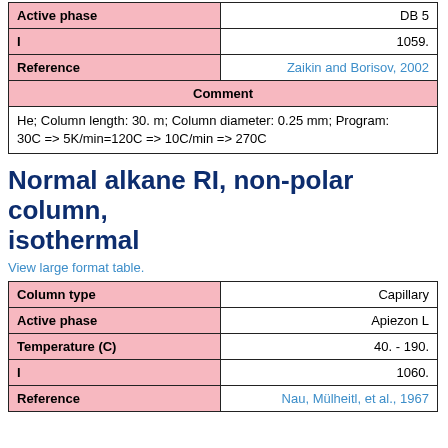| Field | Value |
| --- | --- |
| Active phase | DB 5 |
| I | 1059. |
| Reference | Zaikin and Borisov, 2002 |
| Comment | Comment |
| He; Column length: 30. m; Column diameter: 0.25 mm; Program: 30C => 5K/min=120C => 10C/min => 270C |  |
Normal alkane RI, non-polar column, isothermal
View large format table.
| Field | Value |
| --- | --- |
| Column type | Capillary |
| Active phase | Apiezon L |
| Temperature (C) | 40. - 190. |
| I | 1060. |
| Reference | Nau, Mülheitl, et al., 1967 |